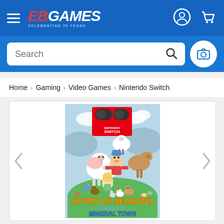[Figure (screenshot): EB Games website header with hamburger menu, EB Games logo with 'Celebrating 25 Years' subtitle, user account icon, and shopping cart icon on blue background]
[Figure (screenshot): Search bar area on blue background with white rounded search input field containing 'Search' placeholder text and a search icon, plus a circular camera button on the right]
Home > Gaming > Video Games > Nintendo Switch
[Figure (photo): Story of Seasons: Friends of Mineral Town Nintendo Switch game box art featuring cartoon characters including a farmer child, cow, horse, various farm animals, and the game title in colorful text]